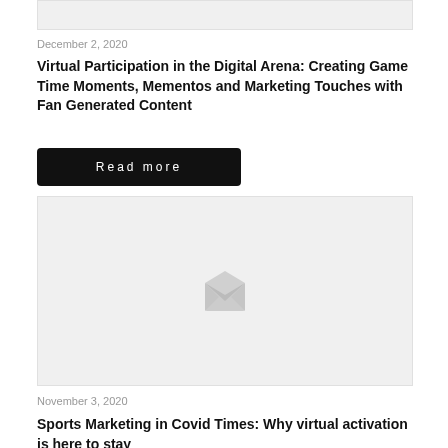[Figure (photo): Top image strip placeholder (partial image cut off at top of page)]
December 2, 2020
Virtual Participation in the Digital Arena: Creating Game Time Moments, Mementos and Marketing Touches with Fan Generated Content
Read more
[Figure (photo): Image placeholder with envelope/image icon in center, light gray background]
November 3, 2020
Sports Marketing in Covid Times: Why virtual activation is here to stay